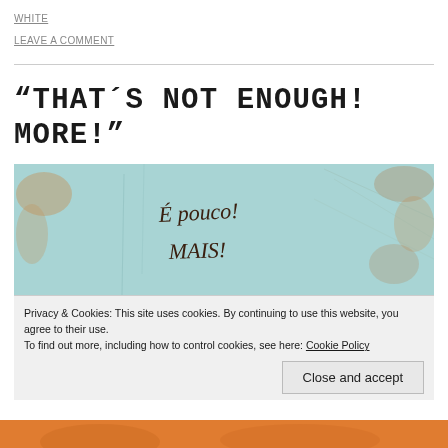WHITE
LEAVE A COMMENT
“THAT´S NOT ENOUGH! MORE!”
[Figure (photo): Handwritten Portuguese text 'É pouco! MAIS!' on a light teal/turquoise distressed wooden surface]
Privacy & Cookies: This site uses cookies. By continuing to use this website, you agree to their use.
To find out more, including how to control cookies, see here: Cookie Policy
Close and accept